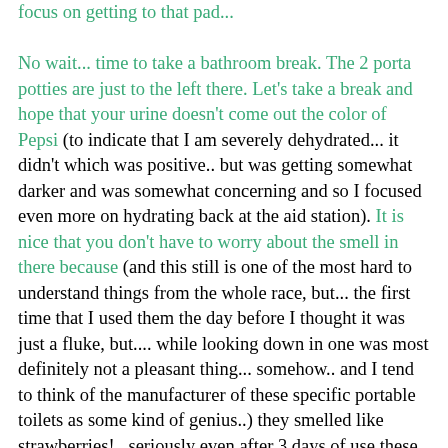focus on getting to that pad... No wait... time to take a bathroom break. The 2 porta potties are just to the left there. Let's take a break and hope that your urine doesn't come out the color of Pepsi (to indicate that I am severely dehydrated... it didn't which was positive.. but was getting somewhat darker and was somewhat concerning and so I focused even more on hydrating back at the aid station). It is nice that you don't have to worry about the smell in there because (and this still is one of the most hard to understand things from the whole race, but... the first time that I used them the day before I thought it was just a fluke, but.... while looking down in one was most definitely not a pleasant thing... somehow.. and I tend to think of the manufacturer of these specific portable toilets as some kind of genius..) they smelled like strawberries!.. seriously even after 3 days of use these things smelled literally like strawberries!! No idea how that was possible but it was one less thing to worry about.... really crazy and something I won't